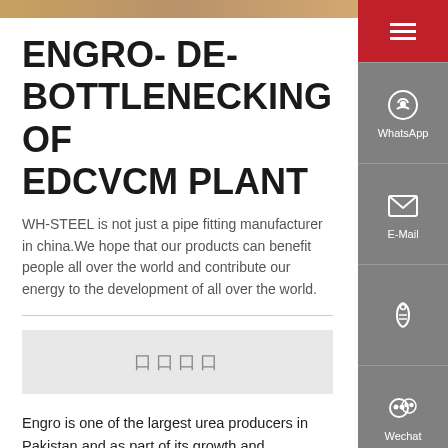ENGRO- DE-BOTTLENECKING OF EDCVCM PLANT
WH-STEEL is not just a pipe fitting manufacturer in china. We hope that our products can benefit people all over the world and contribute our energy to the development of all over the world.
[Figure (other): Image placeholder with Chinese characters]
Engro is one of the largest urea producers in Pakistan and as part of its growth and diversification strategy, Pakistan Engro Chemical Plans to establish its first world scale polyvinyl chloride (PVC) plant